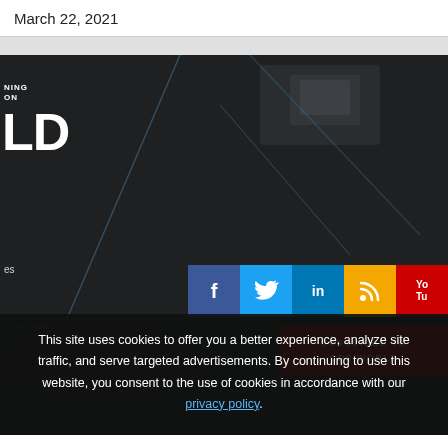March 22, 2021
[Figure (photo): Dark aerial/industrial background photo with GPS World branding overlay, social media icons (Facebook, Twitter, LinkedIn, RSS, YouTube), Subscribe to GPS World button, and cookie consent overlay. Partial logo text visible: small text 'NING ON' and large letters 'LD'.]
This site uses cookies to offer you a better experience, analyze site traffic, and serve targeted advertisements. By continuing to use this website, you consent to the use of cookies in accordance with our privacy policy.